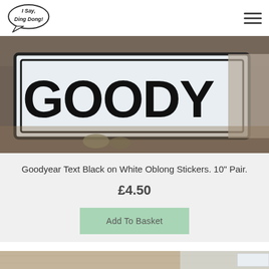I Say, Ding Dong! — logo and navigation
[Figure (photo): Close-up photo of Goodyear text stickers, black text on white oblong background, placed on a wooden surface]
Goodyear Text Black on White Oblong Stickers. 10" Pair.
£4.50
Add To Basket
[Figure (photo): Partial bottom photo showing wooden surface with edge of another product]